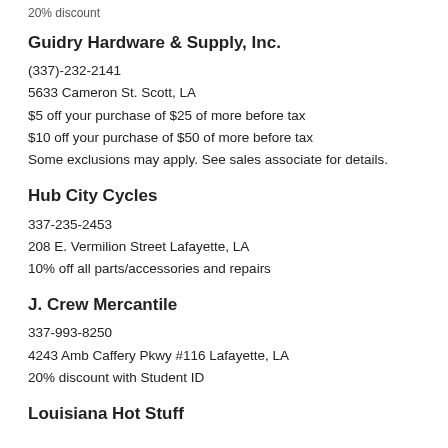20% discount
Guidry Hardware & Supply, Inc.
(337)-232-2141
5633 Cameron St. Scott, LA
$5 off your purchase of $25 of more before tax
$10 off your purchase of $50 of more before tax
Some exclusions may apply. See sales associate for details.
Hub City Cycles
337-235-2453
208 E. Vermilion Street Lafayette, LA
10% off all parts/accessories and repairs
J. Crew Mercantile
337-993-8250
4243 Amb Caffery Pkwy #116 Lafayette, LA
20% discount with Student ID
Louisiana Hot Stuff